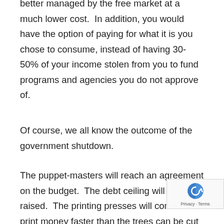better managed by the free market at a much lower cost.  In addition, you would have the option of paying for what it is you chose to consume, instead of having 30-50% of your income stolen from you to fund programs and agencies you do not approve of.
Of course, we all know the outcome of the government shutdown.
The puppet-masters will reach an agreement on the budget.  The debt ceiling will be raised.  The printing presses will continue to print money faster than the trees can be cut dow